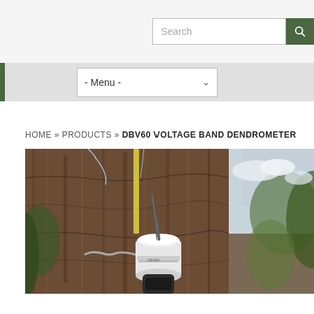Search bar with dark green search button
- Menu -
HOME » PRODUCTS » DBV60 VOLTAGE BAND DENDROMETER
[Figure (photo): Photo of DBV60 Voltage Band Dendrometer device mounted on a large tree trunk. The device has a white cylindrical housing with a black base and a curved metal band. Background shows bark texture and foliage.]